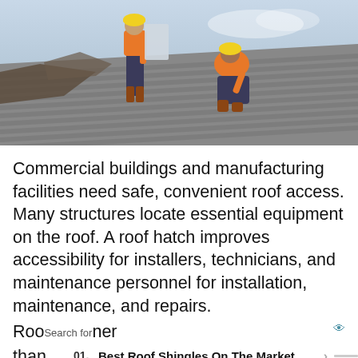[Figure (photo): Two construction workers in orange safety vests and hard hats working on a corrugated metal rooftop. One worker is standing holding a panel, another is crouching and working. The roof shows partially removed or replaced metal sheeting.]
Commercial buildings and manufacturing facilities need safe, convenient roof access. Many structures locate essential equipment on the roof. A roof hatch improves accessibility for installers, technicians, and maintenance personnel for installation, maintenance, and repairs. Roo[Search for overlay]ner thar[ad overlay]imp[ad overlay]
Search for
01. Best Roof Shingles On The Market >
02. Top 10 Roofing Contractors >
Yahoo! Search | Sponsored